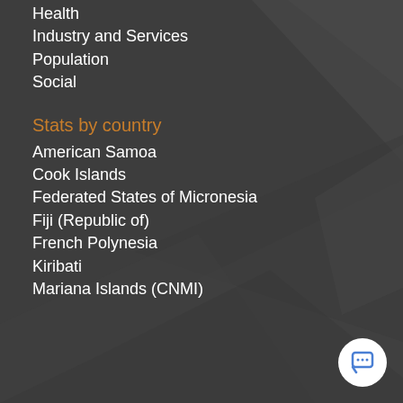Health
Industry and Services
Population
Social
Stats by country
American Samoa
Cook Islands
Federated States of Micronesia
Fiji (Republic of)
French Polynesia
Kiribati
Mariana Islands (CNMI)